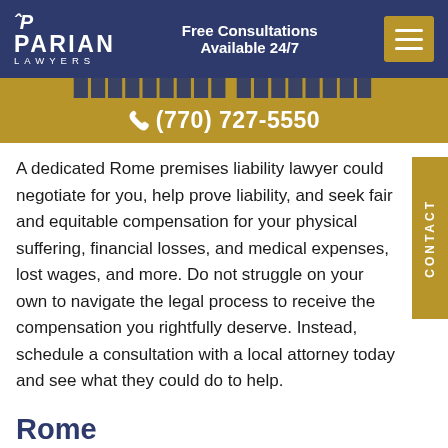[Figure (logo): Parian Lawyers logo with LP monogram icon in white on dark blue background]
Free Consultations Available 24/7
(770) 727-5550
A dedicated Rome premises liability lawyer could negotiate for you, help prove liability, and seek fair and equitable compensation for your physical suffering, financial losses, and medical expenses, lost wages, and more. Do not struggle on your own to navigate the legal process to receive the compensation you rightfully deserve. Instead, schedule a consultation with a local attorney today and see what they could do to help.
Rome